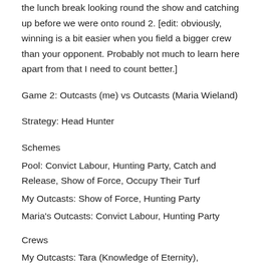the lunch break looking round the show and catching up before we were onto round 2. [edit: obviously, winning is a bit easier when you field a bigger crew than your opponent. Probably not much to learn here apart from that I need to count better.]
Game 2: Outcasts (me) vs Outcasts (Maria Wieland)
Strategy: Head Hunter
Schemes
Pool: Convict Labour, Hunting Party, Catch and Release, Show of Force, Occupy Their Turf
My Outcasts: Show of Force, Hunting Party
Maria's Outcasts: Convict Labour, Hunting Party
Crews
My Outcasts: Tara (Knowledge of Eternity), Freikorps...